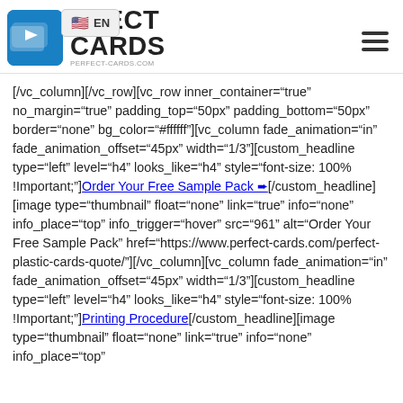EN | Perfect Cards — perfect-cards.com
[/vc_column][/vc_row][vc_row inner_container="true" no_margin="true" padding_top="50px" padding_bottom="50px" border="none" bg_color="#ffffff"][vc_column fade_animation="in" fade_animation_offset="45px" width="1/3"][custom_headline type="left" level="h4" looks_like="h4" style="font-size: 100% !Important;"]Order Your Free Sample Pack ➨[/custom_headline][image type="thumbnail" float="none" link="true" info="none" info_place="top" info_trigger="hover" src="961" alt="Order Your Free Sample Pack" href="https://www.perfect-cards.com/perfect-plastic-cards-quote/"][/vc_column][vc_column fade_animation="in" fade_animation_offset="45px" width="1/3"][custom_headline type="left" level="h4" looks_like="h4" style="font-size: 100% !Important;"]Printing Procedure[/custom_headline][image type="thumbnail" float="none" link="true" info="none" info_place="top"